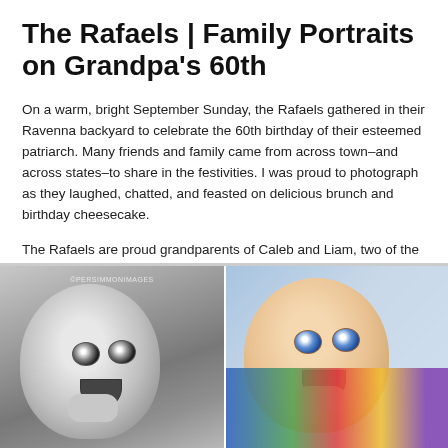The Rafaels | Family Portraits on Grandpa's 60th
On a warm, bright September Sunday, the Rafaels gathered in their Ravenna backyard to celebrate the 60th birthday of their esteemed patriarch. Many friends and family came from across town–and across states–to share in the festivities. I was proud to photograph as they laughed, chatted, and feasted on delicious brunch and birthday cheesecake.
The Rafaels are proud grandparents of Caleb and Liam, two of the cutest little boys I have ever seen. Just look at little Liam… I want to put him in my pocket and take him home.
[Figure (photo): Two side-by-side photos of baby Liam. Left: black and white close-up of a baby looking at camera with hand near mouth. Right: color photo of a baby with blue eyes looking upward with mouth open, lying on colorful blanket.]